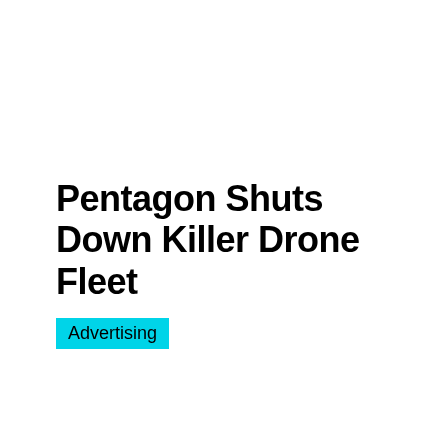Pentagon Shuts Down Killer Drone Fleet
Advertising